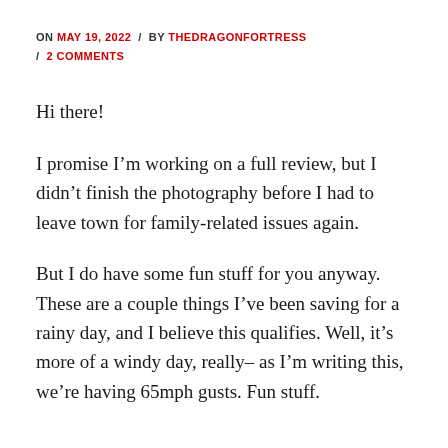ON MAY 19, 2022 / BY THEDRAGONFORTRESS / 2 COMMENTS
Hi there!
I promise I'm working on a full review, but I didn't finish the photography before I had to leave town for family-related issues again.
But I do have some fun stuff for you anyway. These are a couple things I've been saving for a rainy day, and I believe this qualifies. Well, it's more of a windy day, really– as I'm writing this, we're having 65mph gusts. Fun stuff.